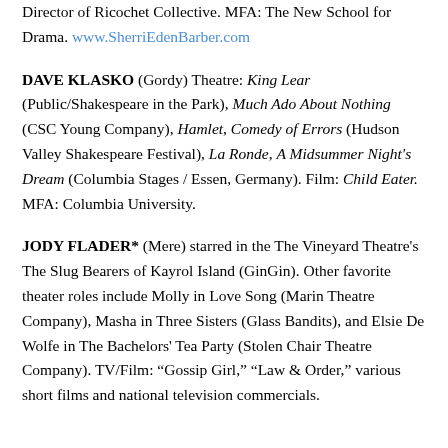Director of Ricochet Collective. MFA: The New School for Drama. www.SherriEdenBarber.com
DAVE KLASKO (Gordy) Theatre: King Lear (Public/Shakespeare in the Park), Much Ado About Nothing (CSC Young Company), Hamlet, Comedy of Errors (Hudson Valley Shakespeare Festival), La Ronde, A Midsummer Night's Dream (Columbia Stages / Essen, Germany). Film: Child Eater. MFA: Columbia University.
JODY FLADER* (Mere) starred in the The Vineyard Theatre's The Slug Bearers of Kayrol Island (GinGin). Other favorite theater roles include Molly in Love Song (Marin Theatre Company), Masha in Three Sisters (Glass Bandits), and Elsie De Wolfe in The Bachelors' Tea Party (Stolen Chair Theatre Company). TV/Film: “Gossip Girl,” “Law & Order,” various short films and national television commercials.